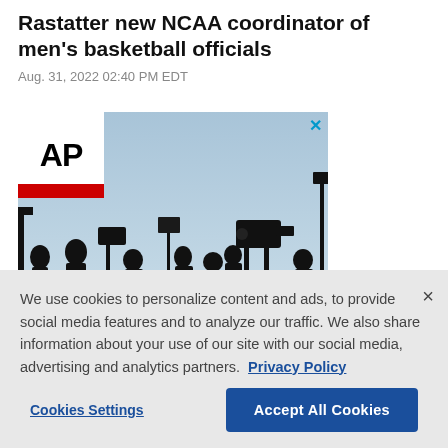Rastatter new NCAA coordinator of men's basketball officials
Aug. 31, 2022 02:40 PM EDT
[Figure (photo): AP News advertisement image showing silhouettes of media camera operators and equipment against a sky background, with AP logo in top-left corner]
We use cookies to personalize content and ads, to provide social media features and to analyze our traffic. We also share information about your use of our site with our social media, advertising and analytics partners. Privacy Policy
Cookies Settings
Accept All Cookies